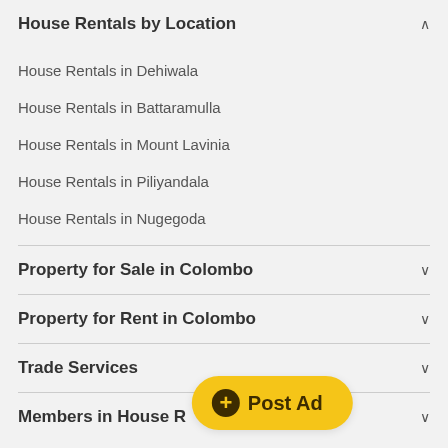House Rentals by Location
House Rentals in Dehiwala
House Rentals in Battaramulla
House Rentals in Mount Lavinia
House Rentals in Piliyandala
House Rentals in Nugegoda
Property for Sale in Colombo
Property for Rent in Colombo
Trade Services
Members in House R…
+ Post Ad